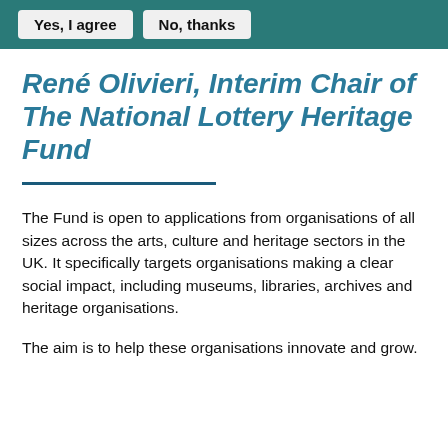Yes, I agree   No, thanks
René Olivieri, Interim Chair of The National Lottery Heritage Fund
The Fund is open to applications from organisations of all sizes across the arts, culture and heritage sectors in the UK. It specifically targets organisations making a clear social impact, including museums, libraries, archives and heritage organisations.
The aim is to help these organisations innovate and grow.